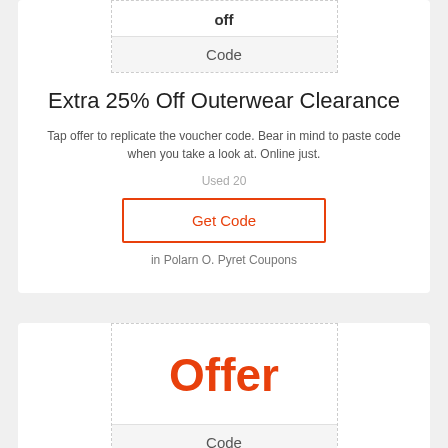off
Code
Extra 25% Off Outerwear Clearance
Tap offer to replicate the voucher code. Bear in mind to paste code when you take a look at. Online just.
Used 20
Get Code
in Polarn O. Pyret Coupons
Offer
Code